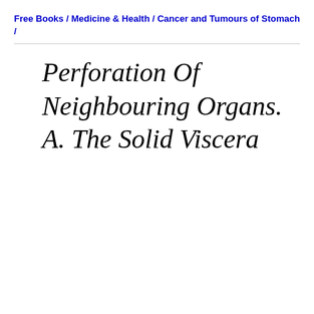Free Books / Medicine & Health / Cancer and Tumours of Stomach /
Perforation Of Neighbouring Organs. A. The Solid Viscera